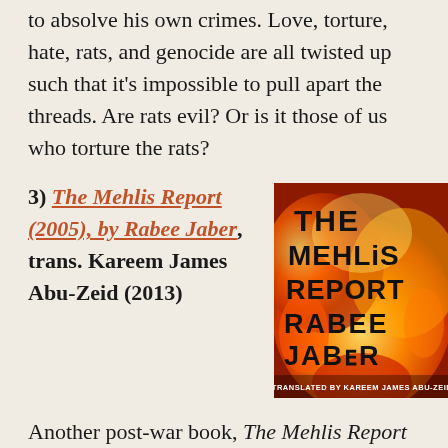to absolve his own crimes. Love, torture, hate, rats, and genocide are all twisted up such that it's impossible to pull apart the threads. Are rats evil? Or is it those of us who torture the rats?
3) The Mehlis Report (2005), by Rabee Jaber, trans. Kareem James Abu-Zeid (2013)
[Figure (photo): Book cover of The Mehlis Report by Rabee Jaber, translated by Kareem James Abu-Zeid. Cover shows dramatic fire/flame background in orange and yellow with black text reading THE MEHLIS REPORT RABEE JABER. Bottom reads TRANSLATED BY KAREEM JAMES ABU-ZEID.]
Another post-war book, The Mehlis Report is a genre-bending historico-fantastical murder-mystery that centers on what's perhaps Lebanon's